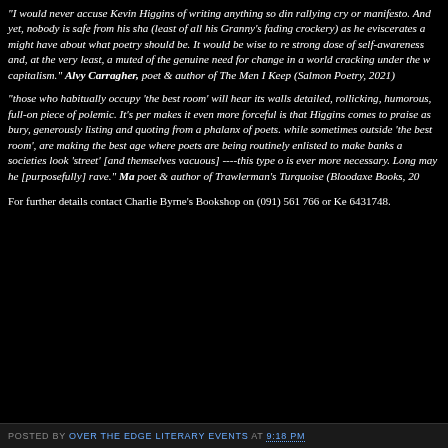"I would never accuse Kevin Higgins of writing anything so din rallying cry or manifesto. And yet, nobody is safe from his sha (least of all his Granny's fading crockery) as he eviscerates a might have about what poetry should be. It would be wise to re strong dose of self-awareness and, at the very least, a muted of the genuine need for change in a world cracking under the capitalism." Alvy Carragher, poet & author of The Men I Keep (Salmon Poetry, 2021)
"those who habitually occupy 'the best room' will hear its walls detailed, rollicking, humorous, full-on piece of polemic. It's per makes it even more forceful is that Higgins comes to praise as bury, generously listing and quoting from a phalanx of poets. while sometimes outside 'the best room', are making the best age where poets are being routinely enlisted to make banks a societies look 'street' [and themselves vacuous] ----this type o is ever more necessary. Long may he [purposefully] rave." Ma poet & author of Trawlerman's Turquoise (Bloodaxe Books, 20
For further details contact Charlie Byrne's Bookshop on (091) 561 766 or Ke 6431748.
POSTED BY OVER THE EDGE LITERARY EVENTS AT 9:18 PM